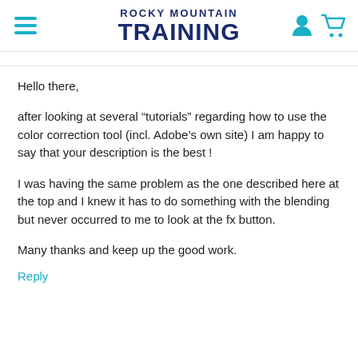ROCKY MOUNTAIN TRAINING
Hello there,
after looking at several “tutorials” regarding how to use the color correction tool (incl. Adobe’s own site) I am happy to say that your description is the best !
I was having the same problem as the one described here at the top and I knew it has to do something with the blending but never occurred to me to look at the fx button.
Many thanks and keep up the good work.
Reply